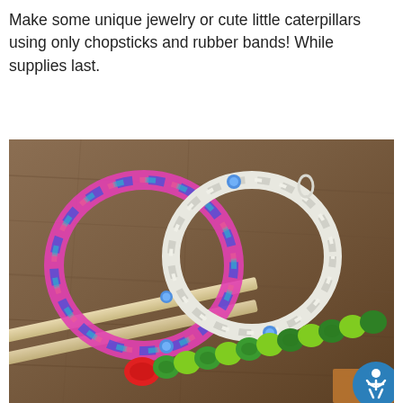Make some unique jewelry or cute little caterpillars using only chopsticks and rubber bands! While supplies last.
[Figure (photo): Two colorful rubber band bracelets (one multicolored pink/blue/teal chevron pattern, one white with blue snaps) and a green rubber band caterpillar with a red head, laid on a wooden surface alongside two wooden chopsticks.]